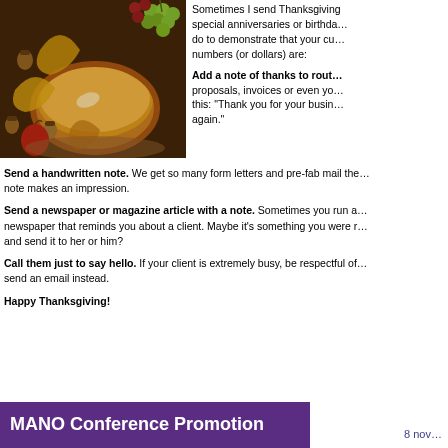[Figure (photo): Thanksgiving-themed photo with pumpkin pie, grapes, nuts, and autumn leaves on a wooden surface]
Sometimes I send Thanksgiving special anniversaries or birthda... do to demonstrate that your cu... numbers (or dollars) are:
Add a note of thanks to rout... proposals, invoices or even yo... this: "Thank you for your busin... again."
Send a handwritten note. We get so many form letters and pre-fab mail the... note makes an impression.
Send a newspaper or magazine article with a note. Sometimes you run a... newspaper that reminds you about a client. Maybe it's something you were r... and send it to her or him?
Call them just to say hello. If your client is extremely busy, be respectful of... send an email instead.
Happy Thanksgiving!
MANO Conference Promotion
8 nov...